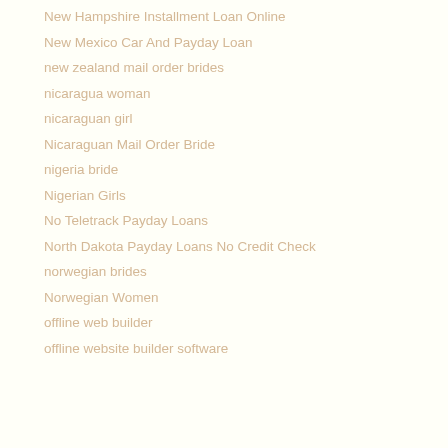New Hampshire Installment Loan Online
New Mexico Car And Payday Loan
new zealand mail order brides
nicaragua woman
nicaraguan girl
Nicaraguan Mail Order Bride
nigeria bride
Nigerian Girls
No Teletrack Payday Loans
North Dakota Payday Loans No Credit Check
norwegian brides
Norwegian Women
offline web builder
offline website builder software